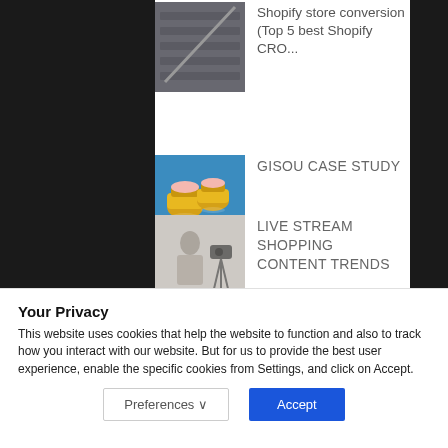[Figure (photo): Thumbnail image of an escalator or staircase in a store]
Shopify store conversion (Top 5 best Shopify CRO...
[Figure (photo): Thumbnail image of Gisou hair products - golden honey containers floating in water]
GISOU CASE STUDY
[Figure (photo): Thumbnail image of person filming with camera on tripod for live stream]
LIVE STREAM SHOPPING CONTENT TRENDS
Your Privacy
This website uses cookies that help the website to function and also to track how you interact with our website. But for us to provide the best user experience, enable the specific cookies from Settings, and click on Accept.